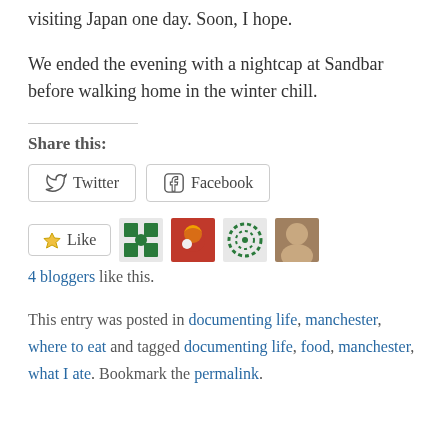visiting Japan one day. Soon, I hope.
We ended the evening with a nightcap at Sandbar before walking home in the winter chill.
Share this:
Twitter  Facebook
Like  [avatars]  4 bloggers like this.
This entry was posted in documenting life, manchester, where to eat and tagged documenting life, food, manchester, what I ate. Bookmark the permalink.